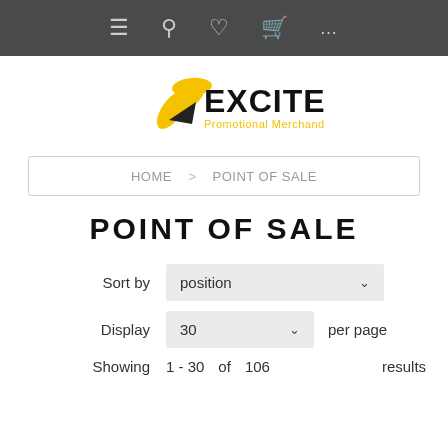Navigation bar with menu, search, wishlist, cart, and more icons
[Figure (logo): Excite Promotional Merchandise Ltd. logo with yellow fan/leaf graphic and bold black EXCITE text]
HOME > POINT OF SALE
POINT OF SALE
Sort by  position
Display  30  per page
Showing  1 - 30  of  106  results